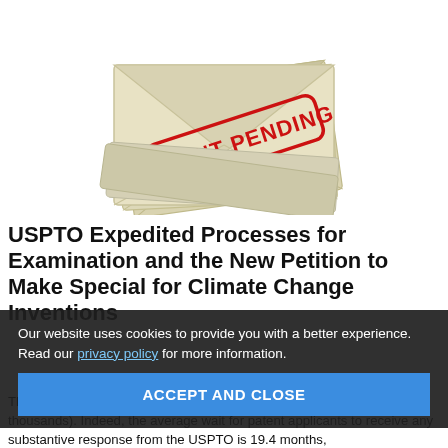[Figure (illustration): Stack of envelope/manila-colored envelopes with a red rubber stamp reading 'PATENT PENDING' diagonally across the front envelope.]
USPTO Expedited Processes for Examination and the New Petition to Make Special for Climate Change Inventions
Our website uses cookies to provide you with a better experience. Read our privacy policy for more information.
ACCEPT AND CLOSE
The United States Patent and Trademark Office (USPTO) has... of thousands). Indeed, the average wait for patent applicants to receive any substantive response from the USPTO is 19.4 months,